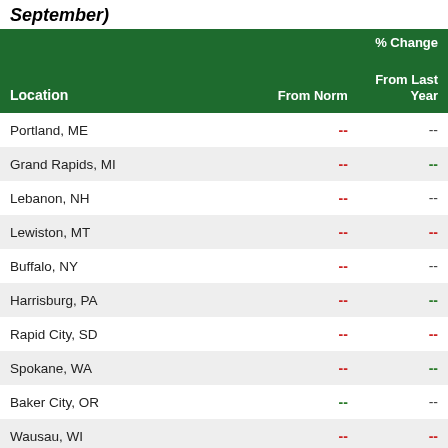September)
| Location | From Norm | % Change From Last Year |
| --- | --- | --- |
| Portland, ME | -- | -- |
| Grand Rapids, MI | -- | -- |
| Lebanon, NH | -- | -- |
| Lewiston, MT | -- | -- |
| Buffalo, NY | -- | -- |
| Harrisburg, PA | -- | -- |
| Rapid City, SD | -- | -- |
| Spokane, WA | -- | -- |
| Baker City, OR | -- | -- |
| Wausau, WI | -- | -- |
| Little Rock, AR | -- | -- |